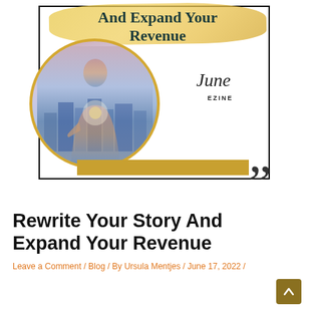[Figure (illustration): Book or ezine cover showing title 'And Expand Your Revenue' with gold brush stroke background, a circular portrait image of a businessman with city skyline double-exposure, cursive 'June' text, 'EZINE' label, gold bar, and large quotation mark]
Rewrite Your Story And Expand Your Revenue
Leave a Comment / Blog / By Ursula Mentjes / June 17, 2022 /